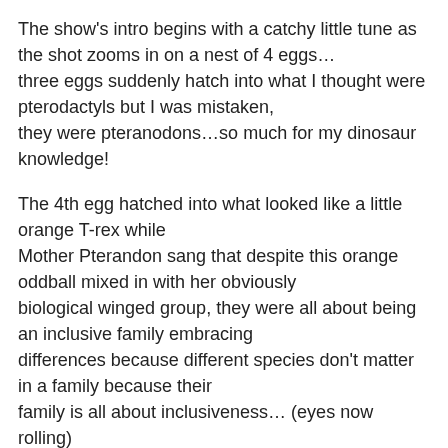The show's intro begins with a catchy little tune as the shot zooms in on a nest of 4 eggs… three eggs suddenly hatch into what I thought were pterodactyls but I was mistaken, they were pteranodons…so much for my dinosaur knowledge!
The 4th egg hatched into what looked like a little orange T-rex while Mother Pterandon sang that despite this orange oddball mixed in with her obviously biological winged group, they were all about being an inclusive family embracing differences because different species don't matter in a family because their family is all about inclusiveness… (eyes now rolling)